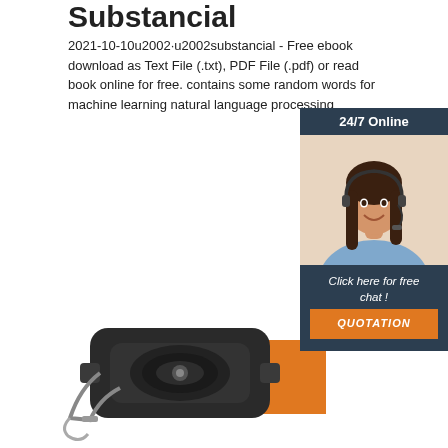Substancial
2021-10-10u2002·u2002substancial - Free ebook download as Text File (.txt), PDF File (.pdf) or read book online for free. contains some random words for machine learning natural language processing
Get Price
[Figure (infographic): Customer service widget with '24/7 Online' header, photo of woman with headset, 'Click here for free chat!' text, and orange QUOTATION button]
[Figure (photo): Black mechanical device/winch hardware product photo]